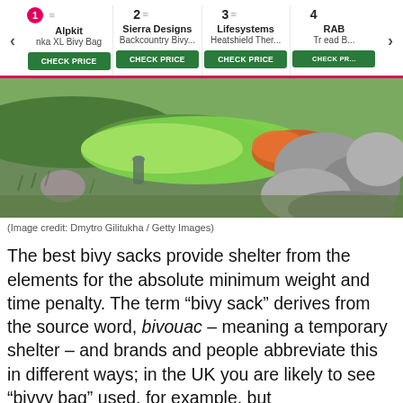[Figure (screenshot): Product carousel showing 4 bivy bag products with numbered rankings, brand names, product names and green CHECK PRICE buttons. Left and right navigation arrows visible.]
[Figure (photo): Outdoor photo showing a green bivy sack/sleeping bag among rocks on grass, photo credit Dmytro Gilitukha / Getty Images]
(Image credit: Dmytro Gilitukha / Getty Images)
The best bivy sacks provide shelter from the elements for the absolute minimum weight and time penalty. The term “bivy sack” derives from the source word, bivouac – meaning a temporary shelter – and brands and people abbreviate this in different ways; in the UK you are likely to see “bivvy bag” used, for example, but